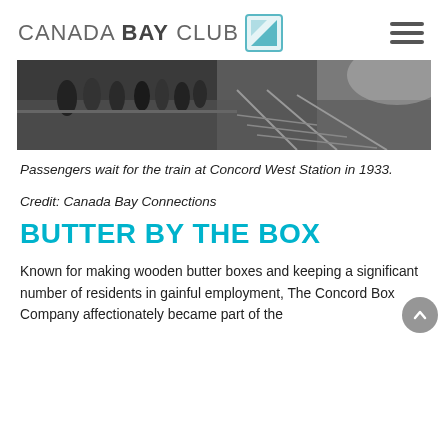CANADA BAY CLUB
[Figure (photo): Black and white photograph of passengers waiting for a train at Concord West Station in 1933, viewed from above showing the platform and railway tracks.]
Passengers wait for the train at Concord West Station in 1933.
Credit: Canada Bay Connections
BUTTER BY THE BOX
Known for making wooden butter boxes and keeping a significant number of residents in gainful employment, The Concord Box Company affectionately became part of the